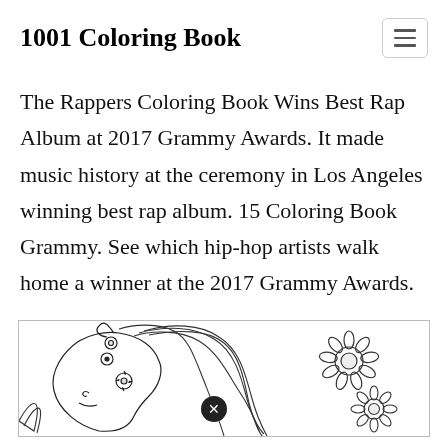1001 Coloring Book
The Rappers Coloring Book Wins Best Rap Album at 2017 Grammy Awards. It made music history at the ceremony in Los Angeles winning best rap album. 15 Coloring Book Grammy. See which hip-hop artists walk home a winner at the 2017 Grammy Awards.
[Figure (illustration): A coloring book illustration showing a horse's head with flowing mane decorated with floral patterns, and sunflower designs in the background. Black and white line art. A close button (circled X) is visible near the bottom center.]